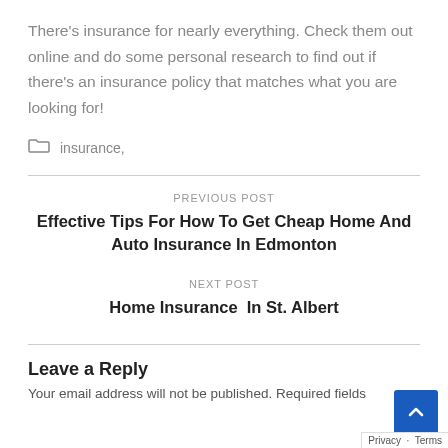There's insurance for nearly everything. Check them out online and do some personal research to find out if there's an insurance policy that matches what you are looking for!
insurance,
PREVIOUS POST
Effective Tips For How To Get Cheap Home And Auto Insurance In Edmonton
NEXT POST
Home Insurance  In St. Albert
Leave a Reply
Your email address will not be published. Required fields